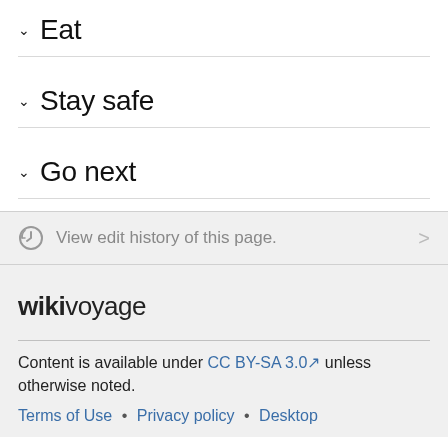Eat
Stay safe
Go next
View edit history of this page.
wikivoyage
Content is available under CC BY-SA 3.0 unless otherwise noted.
Terms of Use • Privacy policy • Desktop